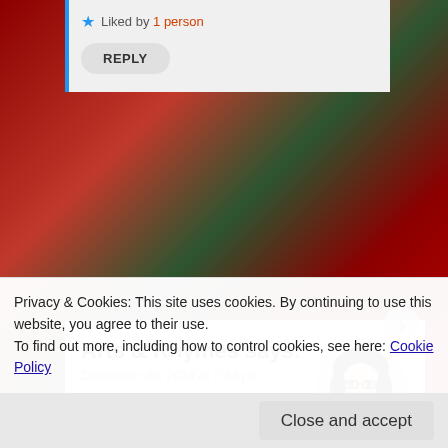★ Liked by 1 person
REPLY
Arts & Rhymes says:
December 30, 2014 at 2:43 pm
[Figure (photo): Black and white circular avatar photo of a woman with dark hair and glasses, smiling]
Love the art work and the CD-ball; very creative! 🙂 HAPPY NEW YEAR ANNMARIE! Peace and
Privacy & Cookies: This site uses cookies. By continuing to use this website, you agree to their use.
To find out more, including how to control cookies, see here: Cookie Policy
Close and accept